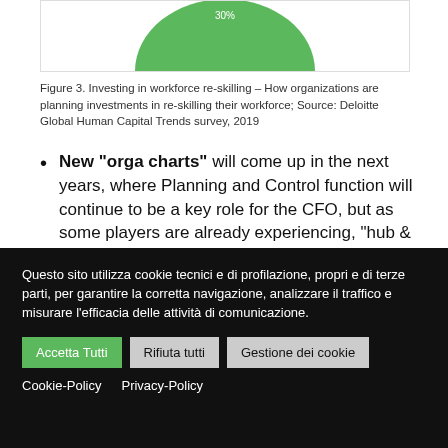[Figure (pie-chart): Partial view of a pie/donut chart showing a green segment labeled 30%]
Figure 3. Investing in workforce re-skilling – How organizations are planning investments in re-skilling their workforce; Source: Deloitte Global Human Capital Trends survey, 2019
New "orga charts" will come up in the next years, where Planning and Control function will continue to be a key role for the CFO, but as some players are already experiencing, "hub & spoke" models will take place to leverage on one hand on a central
Questo sito utilizza cookie tecnici e di profilazione, propri e di terze parti, per garantire la corretta navigazione, analizzare il traffico e misurare l'efficacia delle attività di comunicazione.